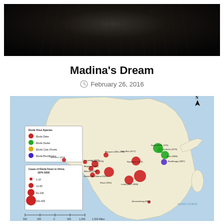[Figure (photo): Dark close-up photo, appears to be dark fur or hair texture against black background]
Madina’s Dream
February 26, 2016
[Figure (map): Map of Africa showing cases of Ebola Fever in Africa 1976-2008. Colored circles indicate different Ebola virus species (Ebola Zaire in red, Ebola Sudan in green, Ebola Cote d'Ivoire in yellow, Ebola Bundibugyo in blue/purple) with circle sizes representing number of cases (1-10, 11-60, 61-190, 191-425). Locations labeled include Tai Forest (1994), Mayibout (2001-2003), Tom Raja (1977), Nzara (1976-1979), Yambuku (1976), Gulu (2000), Bundibugyo (2007), Luebo (2007-2008), Johannesburg (1996), and others. Inset legend boxes describe virus species and case counts.]